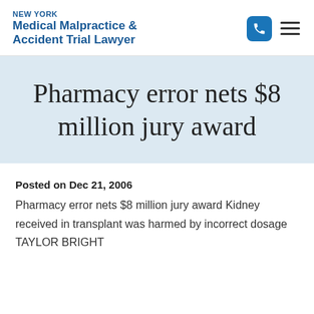NEW YORK Medical Malpractice & Accident Trial Lawyer
Pharmacy error nets $8 million jury award
Posted on Dec 21, 2006
Pharmacy error nets $8 million jury award Kidney received in transplant was harmed by incorrect dosage TAYLOR BRIGHT